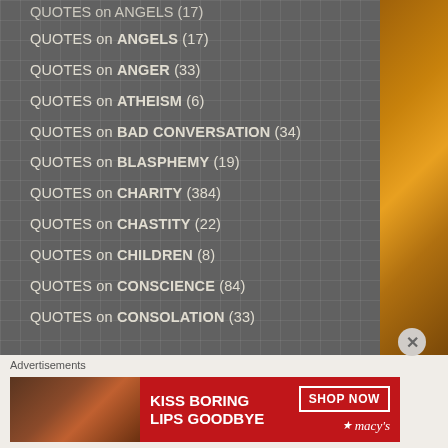QUOTES on ANGELS (17)
QUOTES on ANGER (33)
QUOTES on ATHEISM (6)
QUOTES on BAD CONVERSATION (34)
QUOTES on BLASPHEMY (19)
QUOTES on CHARITY (384)
QUOTES on CHASTITY (22)
QUOTES on CHILDREN (8)
QUOTES on CONSCIENCE (84)
QUOTES on CONSOLATION (33)
Advertisements
[Figure (photo): Macy's advertisement banner: KISS BORING LIPS GOODBYE with SHOP NOW button and Macy's logo, featuring a woman's face with red lips]